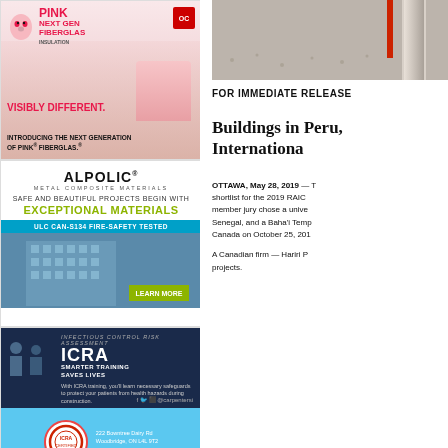[Figure (illustration): Pink Fiberglas insulation ad: Owens Corning Pink Next Gen Fiberglas Insulation. 'VISIBLY DIFFERENT. INTRODUCING THE NEXT GENERATION OF PINK FIBERGLAS.']
[Figure (illustration): ALPOLIC Metal Composite Materials ad: 'SAFE AND BEAUTIFUL PROJECTS BEGIN WITH EXCEPTIONAL MATERIALS. ULC CAN-S134 FIRE-SAFETY TESTED. LEARN MORE']
[Figure (illustration): ICRA Infectious Control Risk Assessment ad: 'SMARTER TRAINING SAVES LIVES'. Address: 222 Bowntree Dairy Rd, Woodbridge, ON L4L 9T2, T: 905-652-4146]
[Figure (photo): Photo of a pipe or pillar against a concrete/gravel background with a red vertical bar accent]
FOR IMMEDIATE RELEASE
Buildings in Peru, International
OTTAWA, May 28, 2019 — The shortlist for the 2019 RAIC member jury chose a universe Senegal, and a Baha'i Temp Canada on October 25, 201
A Canadian firm — Hariri P projects.